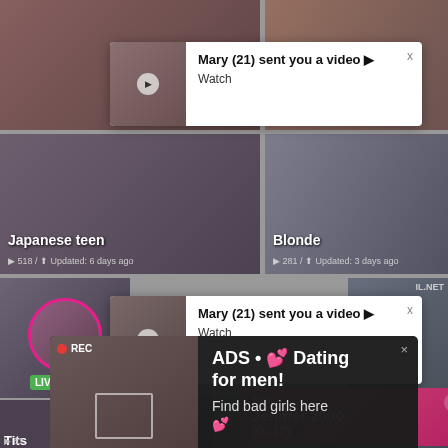[Figure (screenshot): Background grid of blurred NSFW video thumbnails with labels like 'Japanese teen', 'Blonde', 'Tits']
[Figure (screenshot): Notification popup: 'Mary (21) sent you a video ▶ Watch' with thumbnail and close X button]
[Figure (screenshot): Second notification popup: 'Mary (21) sent you a video ▶ Watch' with thumbnail and close X button]
[Figure (screenshot): Pink ADS banner: 'Jeniffer 2000 (00:12)🎵' advertisement]
[Figure (screenshot): Dark REC popup with selfie image: 'ADS • 💕 Dating for men! Find bad girls here 💕']